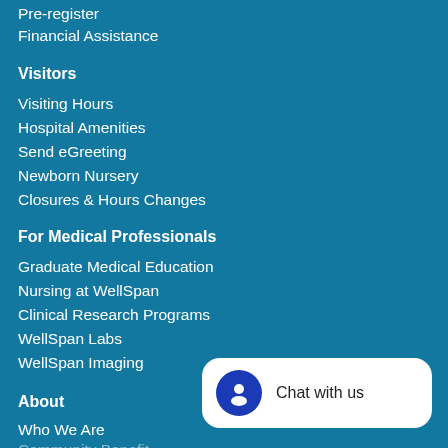Pre-register
Financial Assistance
Visitors
Visiting Hours
Hospital Amenities
Send eGreeting
Newborn Nursery
Closures & Hours Changes
For Medical Professionals
Graduate Medical Education
Nursing at WellSpan
Clinical Research Programs
WellSpan Labs
WellSpan Imaging
About
Who We Are
Community Benefit
[Figure (other): Chat with us widget button with blue circle icon containing a chat agent silhouette and text 'Chat with us']